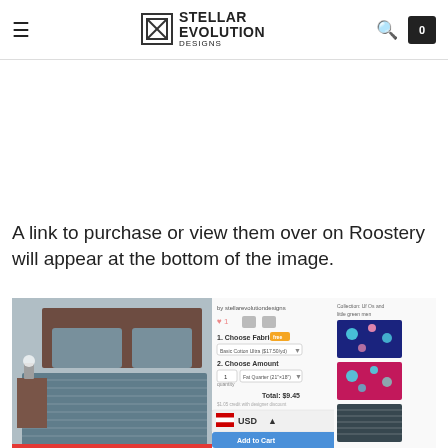Stellar Evolution — navigation header with search and cart
A link to purchase or view them over on Roostery will appear at the bottom of the image.
[Figure (screenshot): Screenshot of a Roostery product page showing a duvet cover with a grey pattern on a bed, with fabric selection options, amount selector, total of $9.45, a USD currency selector, and a side panel showing Collection: Uf Os and little green men with colorful fabric swatches]